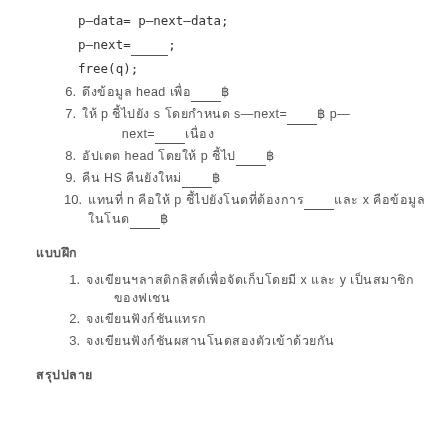p—​data= p—​next—​data;
p—​next=_____;
free(q);
6. [Thai text] head [Thai text]_____[Thai]
7. [Thai text] p [Thai text] s [Thai text] s—​next=____[Thai] p—​next=____[Thai]
8. [Thai text] head [Thai text] p [Thai text]_____[Thai]
9. [Thai text] HS [Thai text]_____[Thai]
10. [Thai text] n [Thai text] p [Thai text]_____[Thai text] x [Thai text]_____[Thai]
[Thai section header]
1. [Thai text] x [Thai] y [Thai text]
2. [Thai text]
3. [Thai text]
[Thai section header 2]